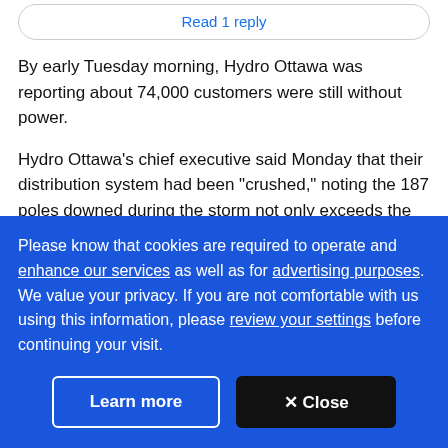Read 1 reply
By early Tuesday morning, Hydro Ottawa was reporting about 74,000 customers were still without power.
Hydro Ottawa's chief executive said Monday that their distribution system had been "crushed," noting the 187 poles downed during the storm not only exceeds the number the city traditionally puts down in a year but also tops the number felled during the 1998 ice storm
Please know that cookies are required to operate and enhance our services as well as for advertising purposes. We value your privacy. If you are not comfortable with us using this information, please review your settings before continuing your visit.
Learn more
✕ Close